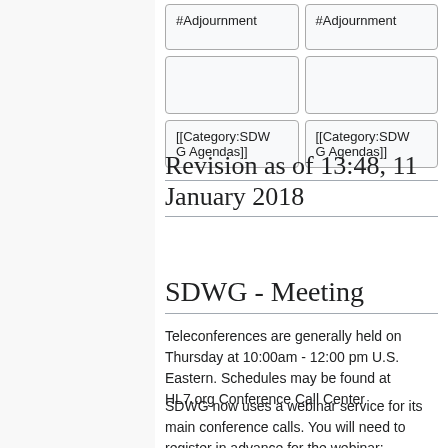| #Adjournment | #Adjournment |
|  |  |
| [[Category:SDWG Agendas]] | [[Category:SDWG Agendas]] |
Revision as of 13:48, 11 January 2018
SDWG - Meeting
Teleconferences are generally held on Thursday at 10:00am - 12:00 pm U.S. Eastern. Schedules may be found at HL7.org Conference Call Center
SDWG now uses a webinar service for its main conference calls. You will need to register in advance for the webinar: SDWG GoToMeeting Page